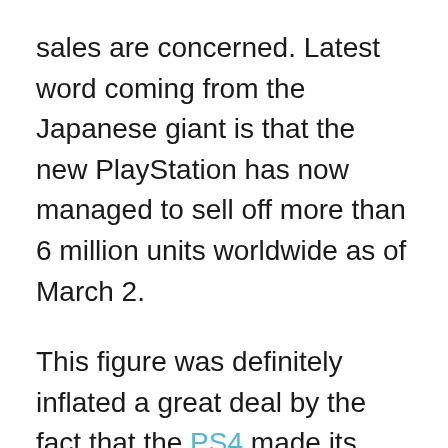sales are concerned. Latest word coming from the Japanese giant is that the new PlayStation has now managed to sell off more than 6 million units worldwide as of March 2.
This figure was definitely inflated a great deal by the fact that the PS4 made its Japanese debut on February 22. It can be noted that on its North American debut alone, the next-gen system had managed to sell 1 million units. Days later, it made its UK debut and sold 250,000...